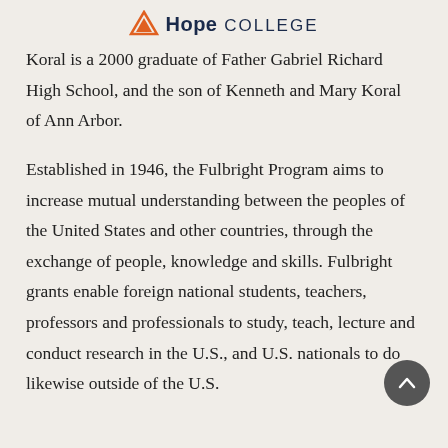Hope College
Koral is a 2000 graduate of Father Gabriel Richard High School, and the son of Kenneth and Mary Koral of Ann Arbor.
Established in 1946, the Fulbright Program aims to increase mutual understanding between the peoples of the United States and other countries, through the exchange of people, knowledge and skills. Fulbright grants enable foreign national students, teachers, professors and professionals to study, teach, lecture and conduct research in the U.S., and U.S. nationals to do likewise outside of the U.S.